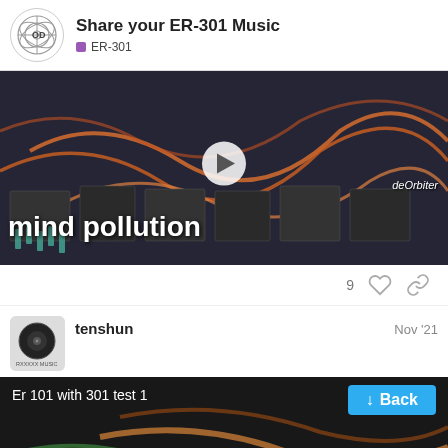Share your ER-301 Music | ER-301
[Figure (screenshot): Video thumbnail of a modular synthesizer with orange patch cables, titled 'mind pollution' by deOrbiter, with a play button in the center]
9 ♡ 🔗
tenshun   Nov '21
[Figure (screenshot): Video thumbnail labeled 'Er 101 with 301 test 1' with a Back button and pagination showing 963 / 1005]